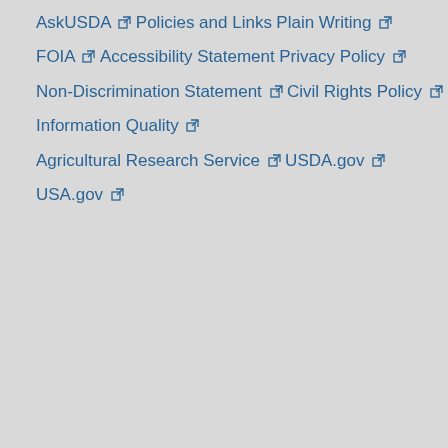AskUSDA ↗
Policies and Links
Plain Writing ↗
FOIA ↗
Accessibility Statement
Privacy Policy ↗
Non-Discrimination Statement ↗
Civil Rights Policy ↗
Information Quality ↗
Agricultural Research Service ↗
USDA.gov ↗
USA.gov ↗